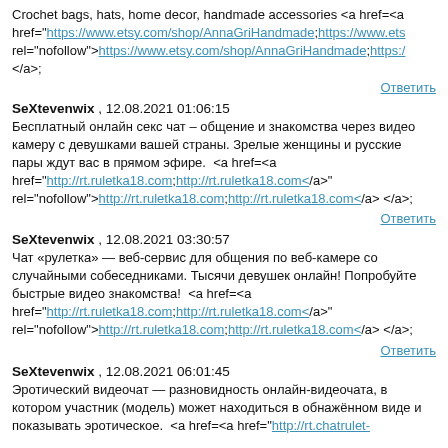Crochet bags, hats, home decor, handmade accessories <a href=<a href="https://www.etsy.com/shop/AnnaGriHandmade>;https://www.etsy... rel="nofollow">https://www.etsy.com/shop/AnnaGriHandmade>;https://... </a>;
Ответить
SeXtevenwix , 12.08.2021 01:06:15
Бесплатный онлайн секс чат – общение и знакомства через видео камеру с девушками вашей страны. Зрелые женщины и русские пары ждут вас в прямом эфире.  <a href=<a href="http://rt.ruletka18.com>;http://rt.ruletka18.com</a>" rel="nofollow">http://rt.ruletka18.com>;http://rt.ruletka18.com</a> </a>;
Ответить
SeXtevenwix , 12.08.2021 03:30:57
Чат «рулетка» — веб-сервис для общения по веб-камере со случайными собеседниками. Тысячи девушек онлайн! Попробуйте быстрые видео знакомства!  <a href=<a href="http://rt.ruletka18.com>;http://rt.ruletka18.com</a>" rel="nofollow">http://rt.ruletka18.com>;http://rt.ruletka18.com</a> </a>;
Ответить
SeXtevenwix , 12.08.2021 06:01:45
Эротический видеочат — разновидность онлайн-видеочата, в котором участник (модель) может находиться в обнажённом виде и показывать эротическое.  <a href=<a href="http://rt.chatrulet-...